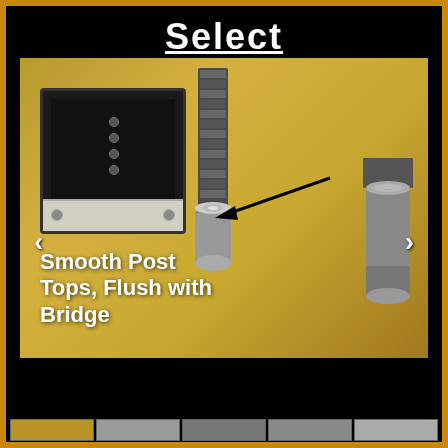Select
[Figure (photo): Close-up photo of electric guitar hardware showing a humbucker pickup with cream frame on the left, bridge posts in the center with a black arrow pointing to smooth post top flush with bridge, and another post on the right. Gold/amber guitar body finish visible. Navigation arrows on left and right sides of image.]
Smooth Post Tops, Flush with Bridge